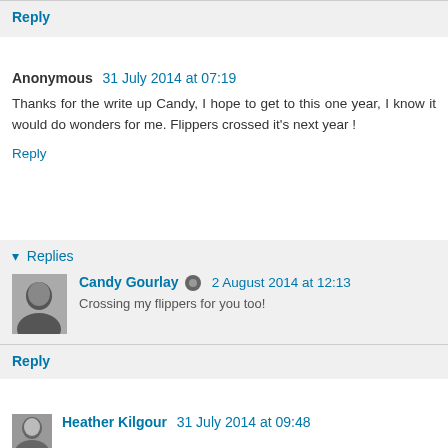Reply
Anonymous 31 July 2014 at 07:19
Thanks for the write up Candy, I hope to get to this one year, I know it would do wonders for me. Flippers crossed it's next year !
Reply
Replies
Candy Gourlay 2 August 2014 at 12:13
Crossing my flippers for you too!
Reply
Heather Kilgour 31 July 2014 at 09:48